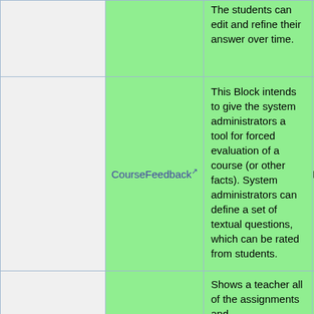|  |  | The students can edit and refine their answer over time. |  |
|  | CourseFeedback | This Block intends to give the system administrators a tool for forced evaluation of a course (or other facts). System administrators can define a set of textual questions, which can be rated from students. | I |
|  |  | Shows a teacher all of the assignments and |  |